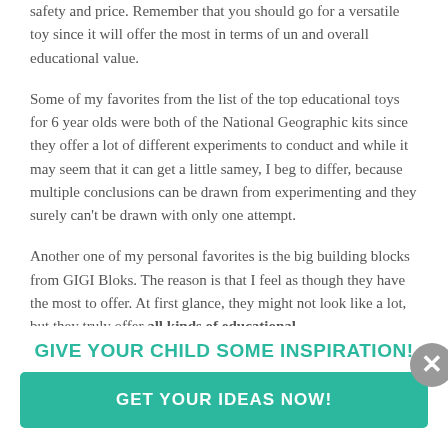safety and price. Remember that you should go for a versatile toy since it will offer the most in terms of un and overall educational value.
Some of my favorites from the list of the top educational toys for 6 year olds were both of the National Geographic kits since they offer a lot of different experiments to conduct and while it may seem that it can get a little samey, I beg to differ, because multiple conclusions can be drawn from experimenting and they surely can't be drawn with only one attempt.
Another one of my personal favorites is the big building blocks from GIGI Bloks. The reason is that I feel as though they have the most to offer. At first glance, they might not look like a lot, but they truly offer all kinds of educational
GIVE YOUR CHILD SOME INSPIRATION!
GET YOUR IDEAS NOW!